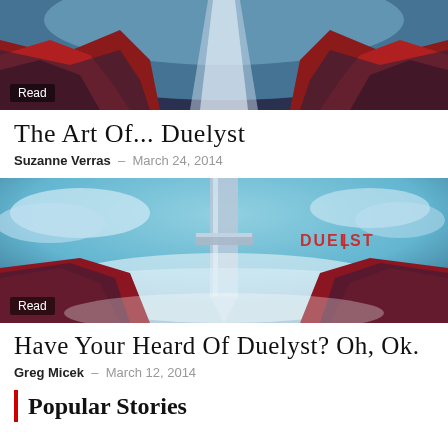[Figure (illustration): Fantasy artwork showing red and blue/teal swirling landscape with dark red rocky formations and a path, with a 'Read' badge overlay at bottom left]
The Art Of... Duelyst
Suzanne Verras – March 24, 2014
[Figure (illustration): Fantasy artwork showing a giant sword/pillar in a blue-teal sky with red rocky landscape below, white mist/clouds, and 'DUELYST' watermark logo in upper right, with a 'Read' badge overlay at bottom left]
Have Your Heard Of Duelyst? Oh, Ok.
Greg Micek – March 12, 2014
Popular Stories